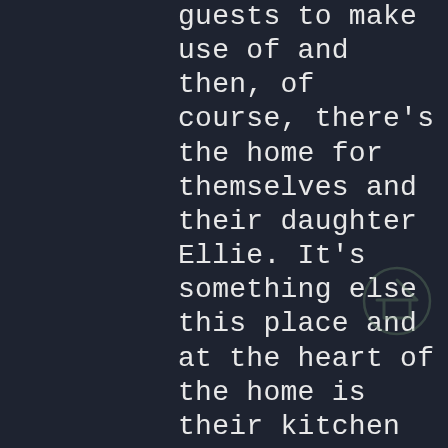guests to make use of and then, of course, there's the home for themselves and their daughter Ellie. It's something else this place and at the heart of the home is their kitchen where Mark, Erica (who gave us a lift here) and I sat drinking tea around a living tree with three branches spanning out equidistantly in several directions. It's certainly a beguiling experience and this is just one facet of the house. Away from the hobbit like existence in the house is the pièce de résistance, a
[Figure (logo): A faint circular house/roof logo watermark in the lower right area of the text]